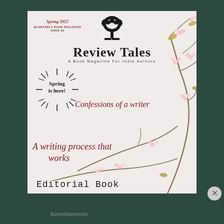[Figure (illustration): Cover of 'Review Tales' quarterly book magazine, Spring 2022 Issue 02. Features a light pinkish-beige background with cherry blossom branches, a tree logo, 'Spring is here!' sun badge, magazine title and subtitle, feature article headings in cursive red: 'Confessions of a writer', 'A writing process that works', 'Editorial Book']
Advertisements